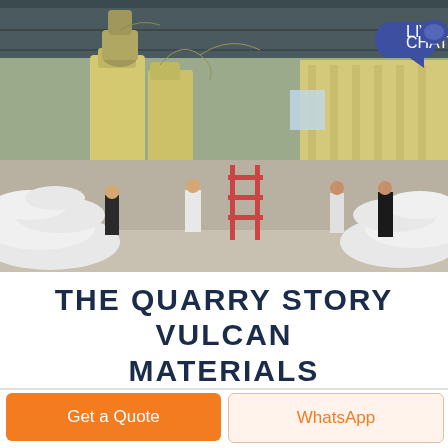[Figure (photo): Interior of an industrial warehouse/factory with large yellow processing/milling equipment, ventilation pipes, workers standing among large white bags of material piled on the floor, steel structure roof visible]
THE QUARRY STORY VULCAN MATERIALS
Get a Quote
WhatsApp